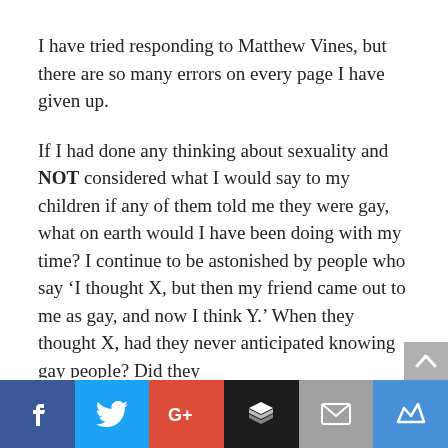I have tried responding to Matthew Vines, but there are so many errors on every page I have given up.
If I had done any thinking about sexuality and NOT considered what I would say to my children if any of them told me they were gay, what on earth would I have been doing with my time? I continue to be astonished by people who say ‘I thought X, but then my friend came out to me as gay, and now I think Y.’ When they thought X, had they never anticipated knowing gay people? Did they
[Figure (infographic): Social sharing bar with icons for Facebook, Twitter, Google+, Buffer, Email, and a crown/bookmark icon, plus a scroll-up arrow button]